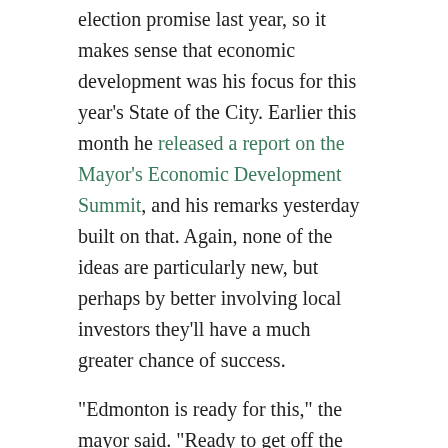election promise last year, so it makes sense that economic development was his focus for this year's State of the City. Earlier this month he released a report on the Mayor's Economic Development Summit, and his remarks yesterday built on that. Again, none of the ideas are particularly new, but perhaps by better involving local investors they'll have a much greater chance of success.
“Edmonton is ready for this,” the mayor said. “Ready to get off the bench and play at a global level.”
Share this:
Twitter | Facebook | LinkedIn | Pocket | Email